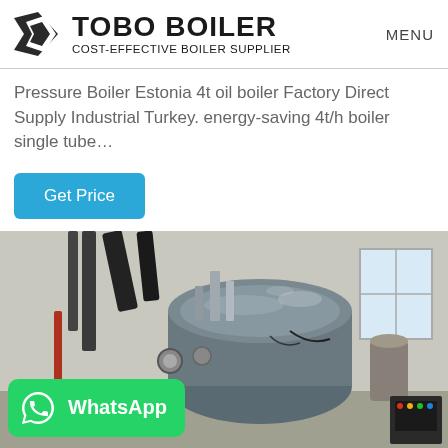TOBO BOILER — COST-EFFECTIVE BOILER SUPPLIER | MENU
Pressure Boiler Estonia 4t oil boiler Factory Direct Supply Industrial Turkey. energy-saving 4t/h boiler single tube…
Get Price
[Figure (photo): Industrial boiler room showing large cylindrical steam boilers with pipes, valves, and control panels in a factory setting. A green WhatsApp button overlay appears at the bottom left.]